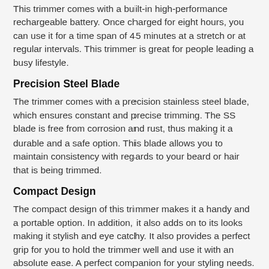This trimmer comes with a built-in high-performance rechargeable battery. Once charged for eight hours, you can use it for a time span of 45 minutes at a stretch or at regular intervals. This trimmer is great for people leading a busy lifestyle.
Precision Steel Blade
The trimmer comes with a precision stainless steel blade, which ensures constant and precise trimming. The SS blade is free from corrosion and rust, thus making it a durable and a safe option. This blade allows you to maintain consistency with regards to your beard or hair that is being trimmed.
Compact Design
The compact design of this trimmer makes it a handy and a portable option. In addition, it also adds on to its looks making it stylish and eye catchy. It also provides a perfect grip for you to hold the trimmer well and use it with an absolute ease. A perfect companion for your styling needs.
Simple On/Off Switch